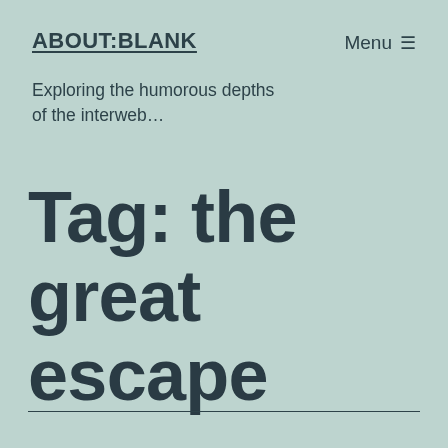ABOUT:BLANK
Menu ≡
Exploring the humorous depths of the interweb…
Tag: the great escape